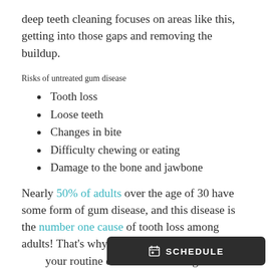deep teeth cleaning focuses on areas like this, getting into those gaps and removing the buildup.
Risks of untreated gum disease
Tooth loss
Loose teeth
Changes in bite
Difficulty chewing or eating
Damage to the bone and jawbone
Nearly 50% of adults over the age of 30 have some form of gum disease, and this disease is the number one cause of tooth loss among adults! That’s why it’s impo... your routine exams and cleanings and maintain